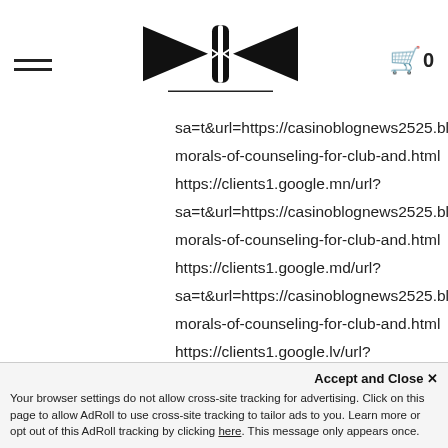[Figure (logo): Stylized logo with arrow/wing shapes pointing inward toward a central vertical bar, black on white]
sa=t&url=https://casinoblognews2525.blogsp
morals-of-counseling-for-club-and.html
https://clients1.google.mn/url?
sa=t&url=https://casinoblognews2525.blogsp
morals-of-counseling-for-club-and.html
https://clients1.google.md/url?
sa=t&url=https://casinoblognews2525.blogsp
morals-of-counseling-for-club-and.html
https://clients1.google.lv/url?
sa=t&url=https://casinoblognews2525.blogsp
Accept and Close ✕
Your browser settings do not allow cross-site tracking for advertising. Click on this page to allow AdRoll to use cross-site tracking to tailor ads to you. Learn more or opt out of this AdRoll tracking by clicking here. This message only appears once.